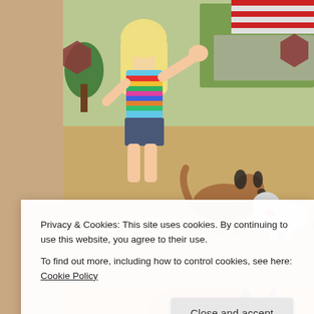[Figure (screenshot): Two screenshots from a 3D virtual world game. Top screenshot shows a blonde female avatar in a rainbow striped top and denim shorts, waving, with two cartoon dogs (a brown one and a white one) on a sandy ground, with a green stall and red-and-white striped awning in the background. Bottom screenshot shows close-up of orange cat or animal characters with purple cat ears visible.]
Privacy & Cookies: This site uses cookies. By continuing to use this website, you agree to their use.
To find out more, including how to control cookies, see here: Cookie Policy
Close and accept